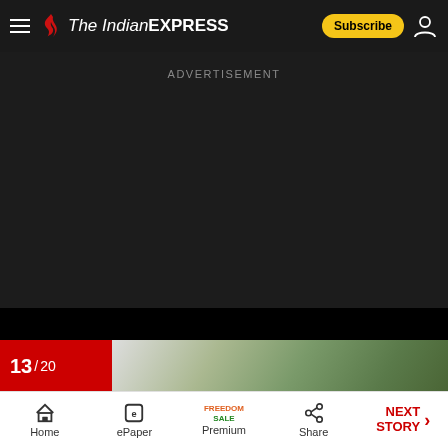The Indian EXPRESS — Subscribe
ADVERTISEMENT
13 / 20
Home | ePaper | Premium (FREEDOM SALE) | Share | NEXT STORY